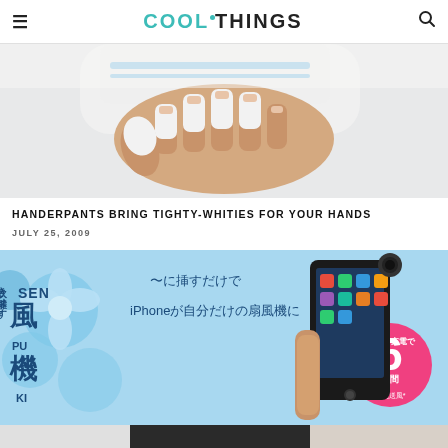COOLTHINGS
[Figure (photo): White fingerless glove/handerpants worn on a hand against white background]
HANDERPANTS BRING TIGHTY-WHITIES FOR YOUR HANDS
JULY 25, 2009
[Figure (photo): Japanese product advertisement showing iPhone fan accessory with Japanese text and '6 hours' charge time claim, with iPhone displaying app icons]
[Figure (photo): Partial bottom image of product in black and white]